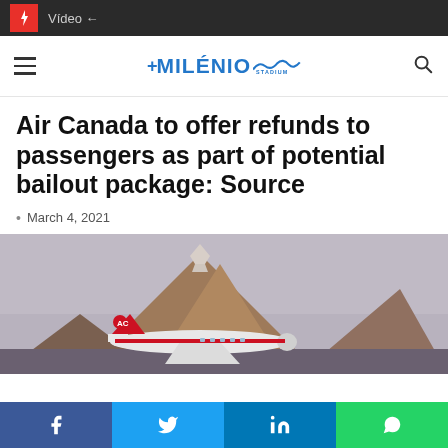⚡ Vídeo ←
MILENIO STADIUM (logo)
Air Canada to offer refunds to passengers as part of potential bailout package: Source
March 4, 2021
[Figure (photo): Air Canada plane on tarmac with a snow-capped mountain in the background under a hazy sky]
Facebook | Twitter | LinkedIn | WhatsApp share buttons